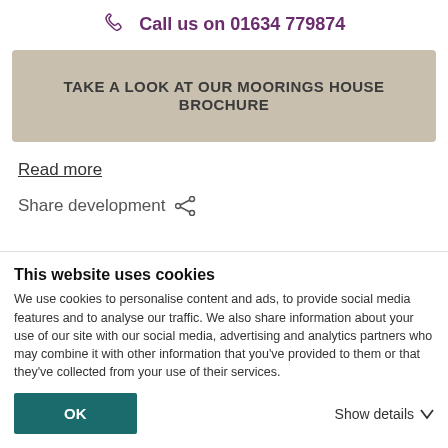Call us on 01634 779874
TAKE A LOOK AT OUR MOORINGS HOUSE BROCHURE
Read more
Share development
This website uses cookies
We use cookies to personalise content and ads, to provide social media features and to analyse our traffic. We also share information about your use of our site with our social media, advertising and analytics partners who may combine it with other information that you've provided to them or that they've collected from your use of their services.
OK
Show details